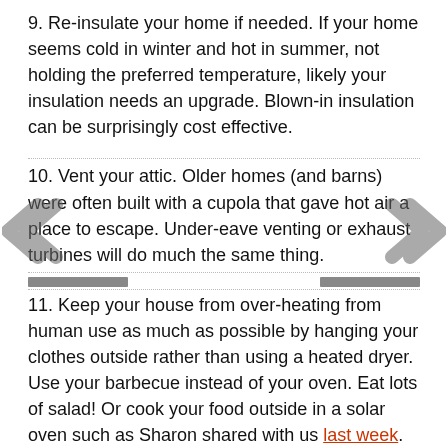9. Re-insulate your home if needed. If your home seems cold in winter and hot in summer, not holding the preferred temperature, likely your insulation needs an upgrade. Blown-in insulation can be surprisingly cost effective.
10. Vent your attic. Older homes (and barns) were often built with a cupola that gave hot air a place to escape. Under-eave venting or exhaust turbines will do much the same thing.
11. Keep your house from over-heating from human use as much as possible by hanging your clothes outside rather than using a heated dryer. Use your barbecue instead of your oven. Eat lots of salad! Or cook your food outside in a solar oven such as Sharon shared with us last week.